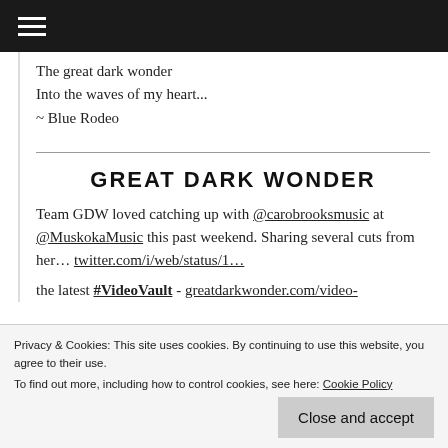≡ (hamburger menu icon)
The great dark wonder
Into the waves of my heart...
~ Blue Rodeo
GREAT DARK WONDER
Team GDW loved catching up with @carobrooksmusic at @MuskokaMusic this past weekend. Sharing several cuts from her… twitter.com/i/web/status/1…
the latest #VideoVault - greatdarkwonder.com/video-
Privacy & Cookies: This site uses cookies. By continuing to use this website, you agree to their use.
To find out more, including how to control cookies, see here: Cookie Policy
Close and accept